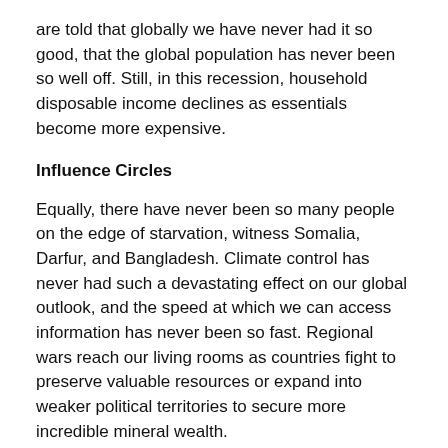are told that globally we have never had it so good, that the global population has never been so well off. Still, in this recession, household disposable income declines as essentials become more expensive.
Influence Circles
Equally, there have never been so many people on the edge of starvation, witness Somalia, Darfur, and Bangladesh. Climate control has never had such a devastating effect on our global outlook, and the speed at which we can access information has never been so fast. Regional wars reach our living rooms as countries fight to preserve valuable resources or expand into weaker political territories to secure more incredible mineral wealth.
The gap between the haves and have-nots is indeed increasing not only in my own country of the UK but also across all continents.
Poverty, Economy and Climate Control...